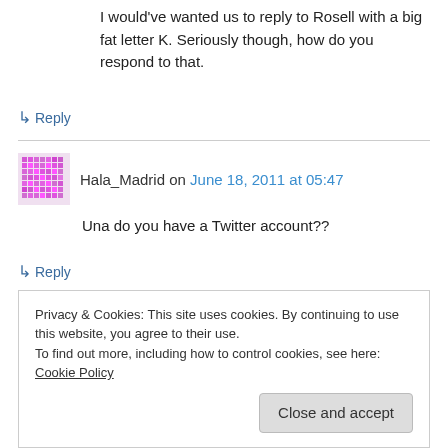I would've wanted us to reply to Rosell with a big fat letter K. Seriously though, how do you respond to that.
↳ Reply
Hala_Madrid on June 18, 2011 at 05:47
Una do you have a Twitter account??
↳ Reply
Privacy & Cookies: This site uses cookies. By continuing to use this website, you agree to their use.
To find out more, including how to control cookies, see here: Cookie Policy